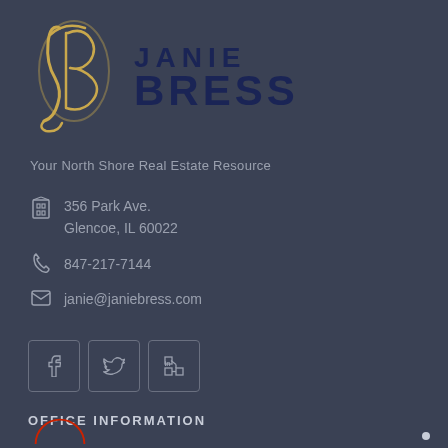[Figure (logo): JB monogram logo in gold script with JANIE BRESS text in dark navy]
Your North Shore Real Estate Resource
356 Park Ave.
Glencoe, IL 60022
847-217-7144
janie@janiebress.com
[Figure (other): Social media icons: Facebook, Twitter, LinkedIn in outlined square buttons]
OFFICE INFORMATION